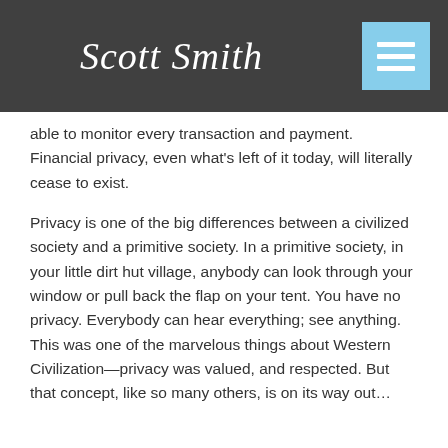Scott Smith
able to monitor every transaction and payment. Financial privacy, even what's left of it today, will literally cease to exist.
Privacy is one of the big differences between a civilized society and a primitive society. In a primitive society, in your little dirt hut village, anybody can look through your window or pull back the flap on your tent. You have no privacy. Everybody can hear everything; see anything. This was one of the marvelous things about Western Civilization—privacy was valued, and respected. But that concept, like so many others, is on its way out…